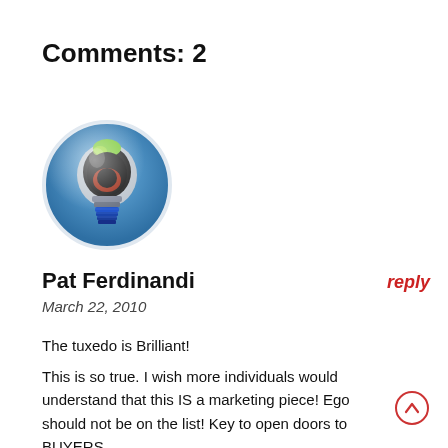Comments: 2
[Figure (illustration): Circular avatar image with a stylized light bulb illustration on a blue background. The bulb features a dark/black interior with green and red accents and a blue base.]
Pat Ferdinandi
reply
March 22, 2010
The tuxedo is Brilliant!
This is so true. I wish more individuals would understand that this IS a marketing piece! Ego should not be on the list! Key to open doors to BUYERS.